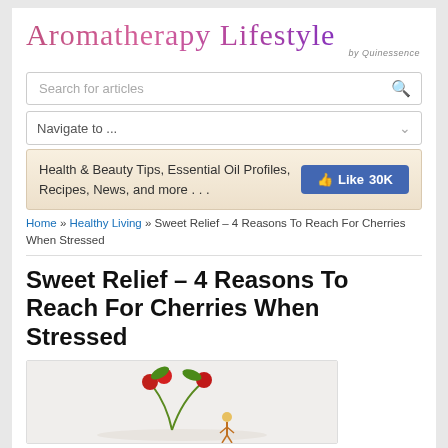Aromatherapy Lifestyle by Quinessence
Search for articles
Navigate to ...
Health & Beauty Tips, Essential Oil Profiles, Recipes, News, and more . . .
Home » Healthy Living » Sweet Relief – 4 Reasons To Reach For Cherries When Stressed
Sweet Relief – 4 Reasons To Reach For Cherries When Stressed
[Figure (illustration): Decorative illustration related to cherries, showing small figures or cherry elements on a white background]